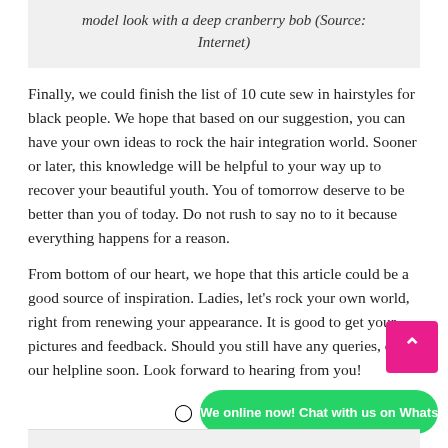model look with a deep cranberry bob (Source: Internet)
Finally, we could finish the list of 10 cute sew in hairstyles for black people. We hope that based on our suggestion, you can have your own ideas to rock the hair integration world. Sooner or later, this knowledge will be helpful to your way up to recover your beautiful youth. You of tomorrow deserve to be better than you of today. Do not rush to say no to it because everything happens for a reason.
From bottom of our heart, we hope that this article could be a good source of inspiration. Ladies, let's rock your own world, right from renewing your appearance. It is good to get your pictures and feedback. Should you still have any queries, cont our helpline soon. Look forward to hearing from you!